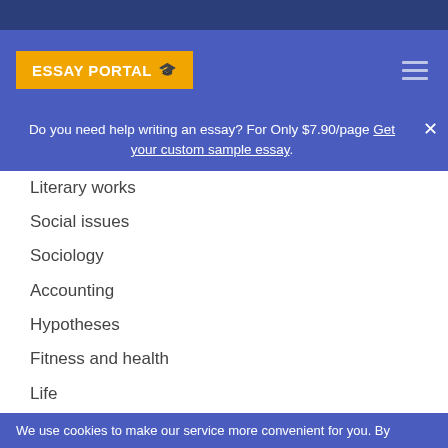ESSAY PORTAL
Do you need help writing an essay? For Only $7.90/page Get your custom sample essay.
Literary works
Social issues
Sociology
Accounting
Hypotheses
Fitness and health
Life
Entertainment
Fictional arts essays
Latest Posts
We use cookies to make our service more convenient for you. By